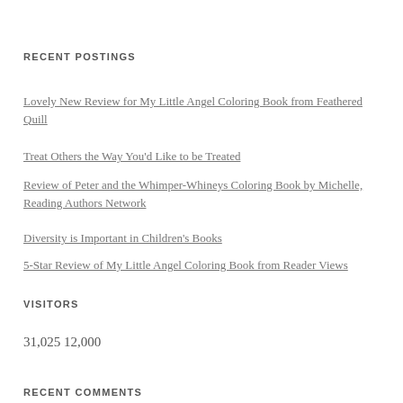RECENT POSTINGS
Lovely New Review for My Little Angel Coloring Book from Feathered Quill
Treat Others the Way You'd Like to be Treated
Review of Peter and the Whimper-Whineys Coloring Book by Michelle, Reading Authors Network
Diversity is Important in Children's Books
5-Star Review of My Little Angel Coloring Book from Reader Views
VISITORS
31,025  12,000
RECENT COMMENTS